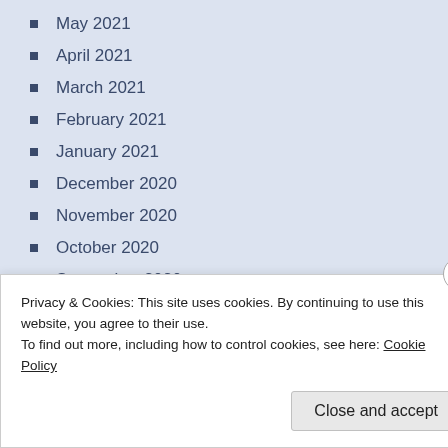May 2021
April 2021
March 2021
February 2021
January 2021
December 2020
November 2020
October 2020
September 2020
August 2020
Privacy & Cookies: This site uses cookies. By continuing to use this website, you agree to their use.
To find out more, including how to control cookies, see here: Cookie Policy
Close and accept